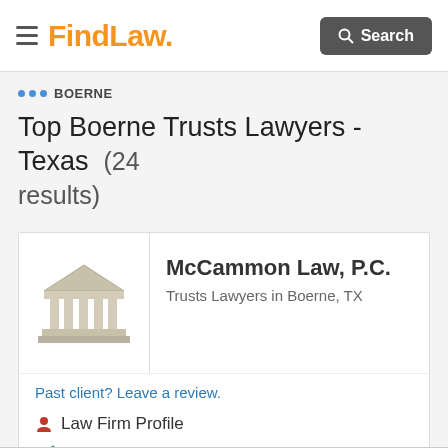FindLaw — Search
… BOERNE
Top Boerne Trusts Lawyers - Texas (24 results)
[Figure (logo): Law firm building/courthouse icon placeholder logo in gray]
McCammon Law, P.C.
Trusts Lawyers in Boerne, TX
Past client? Leave a review.
Law Firm Profile
FREE CONSULTATION